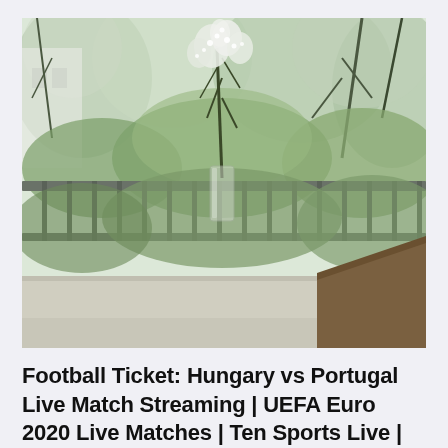[Figure (photo): A glass vase with white flowering branches and green leaves sits on a light-colored table or shelf in front of a balcony railing, with lush green trees visible in the background through the railing. The image has a soft, airy, natural aesthetic.]
Football Ticket: Hungary vs Portugal Live Match Streaming | UEFA Euro 2020 Live Matches | Ten Sports Live | HUN vs POR